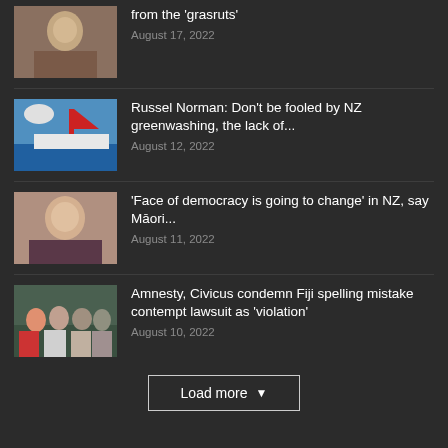from the ‘grasruts’ — August 17, 2022
Russel Norman: Don’t be fooled by NZ greenwashing, the lack of... — August 12, 2022
‘Face of democracy is going to change’ in NZ, say Māori... — August 11, 2022
Amnesty, Civicus condemn Fiji spelling mistake contempt lawsuit as ‘violation’ — August 10, 2022
Load more
Popular Reports